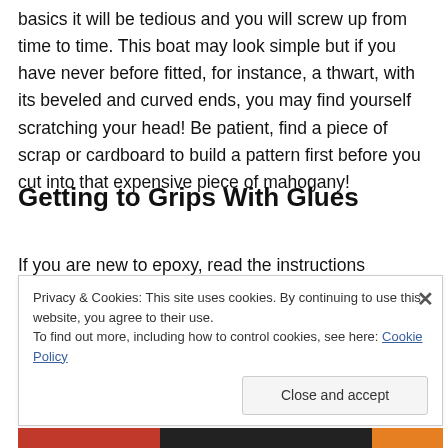basics it will be tedious and you will screw up from time to time. This boat may look simple but if you have never before fitted, for instance, a thwart, with its beveled and curved ends, you may find yourself scratching your head! Be patient, find a piece of scrap or cardboard to build a pattern first before you cut into that expensive piece of mahogany!
Getting to Grips With Glues
If you are new to epoxy, read the instructions carefully
Privacy & Cookies: This site uses cookies. By continuing to use this website, you agree to their use.
To find out more, including how to control cookies, see here: Cookie Policy